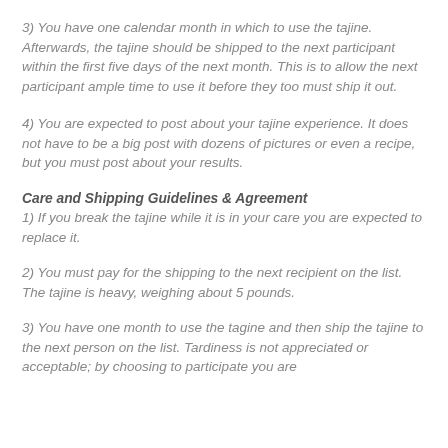3) You have one calendar month in which to use the tajine. Afterwards, the tajine should be shipped to the next participant within the first five days of the next month. This is to allow the next participant ample time to use it before they too must ship it out.
4) You are expected to post about your tajine experience. It does not have to be a big post with dozens of pictures or even a recipe, but you must post about your results.
Care and Shipping Guidelines & Agreement
1) If you break the tajine while it is in your care you are expected to replace it.
2) You must pay for the shipping to the next recipient on the list. The tajine is heavy, weighing about 5 pounds.
3) You have one month to use the tagine and then ship the tajine to the next person on the list. Tardiness is not appreciated or acceptable; by choosing to participate you are